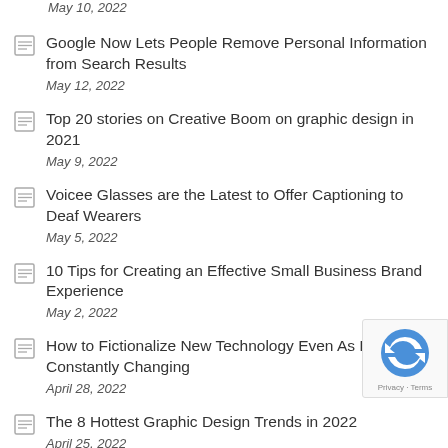May 10, 2022
Google Now Lets People Remove Personal Information from Search Results
May 12, 2022
Top 20 stories on Creative Boom on graphic design in 2021
May 9, 2022
Voicee Glasses are the Latest to Offer Captioning to Deaf Wearers
May 5, 2022
10 Tips for Creating an Effective Small Business Brand Experience
May 2, 2022
How to Fictionalize New Technology Even As It's Constantly Changing
April 28, 2022
The 8 Hottest Graphic Design Trends in 2022
April 25, 2022
Snapchat has a New Lens to Help You Learn the